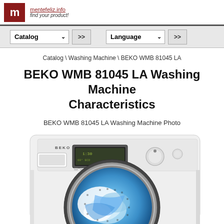mentefeliz.info — find your product!
Catalog >> Language >>
Catalog \ Washing Machine \ BEKO WMB 81045 LA
BEKO WMB 81045 LA Washing Machine Characteristics
BEKO WMB 81045 LA Washing Machine Photo
[Figure (photo): Front-loading BEKO WMB 81045 LA washing machine in white, showing control panel with digital display and dial, and open drum door with blue and white fabric visible inside.]